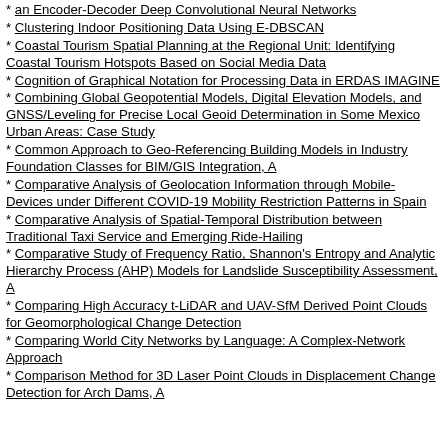an Encoder-Decoder Deep Convolutional Neural Networks
Clustering Indoor Positioning Data Using E-DBSCAN
Coastal Tourism Spatial Planning at the Regional Unit: Identifying Coastal Tourism Hotspots Based on Social Media Data
Cognition of Graphical Notation for Processing Data in ERDAS IMAGINE
Combining Global Geopotential Models, Digital Elevation Models, and GNSS/Leveling for Precise Local Geoid Determination in Some Mexico Urban Areas: Case Study
Common Approach to Geo-Referencing Building Models in Industry Foundation Classes for BIM/GIS Integration, A
Comparative Analysis of Geolocation Information through Mobile-Devices under Different COVID-19 Mobility Restriction Patterns in Spain
Comparative Analysis of Spatial-Temporal Distribution between Traditional Taxi Service and Emerging Ride-Hailing
Comparative Study of Frequency Ratio, Shannon's Entropy and Analytic Hierarchy Process (AHP) Models for Landslide Susceptibility Assessment, A
Comparing High Accuracy t-LiDAR and UAV-SfM Derived Point Clouds for Geomorphological Change Detection
Comparing World City Networks by Language: A Complex-Network Approach
Comparison Method for 3D Laser Point Clouds in Displacement Change Detection for Arch Dams, A